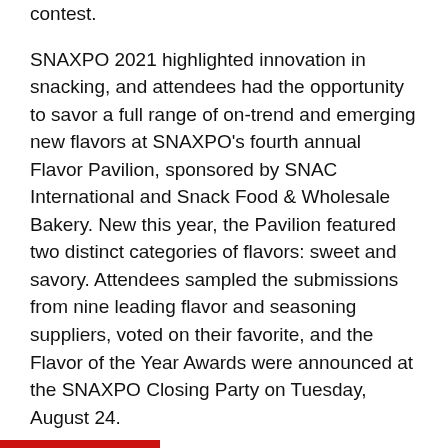contest.
SNAXPO 2021 highlighted innovation in snacking, and attendees had the opportunity to savor a full range of on-trend and emerging new flavors at SNAXPO's fourth annual Flavor Pavilion, sponsored by SNAC International and Snack Food & Wholesale Bakery. New this year, the Pavilion featured two distinct categories of flavors: sweet and savory. Attendees sampled the submissions from nine leading flavor and seasoning suppliers, voted on their favorite, and the Flavor of the Year Awards were announced at the SNAXPO Closing Party on Tuesday, August 24.
The top three for the Sweet Flavor category included:
Winner: Elite Spice for its Mocha Latte flavor. This sweet chocolate, creamy dairy, and rich roasted coffee taste combined all the flavors of a classic coffee house latte in one bite.
Commercial Creamery earned a second place finish